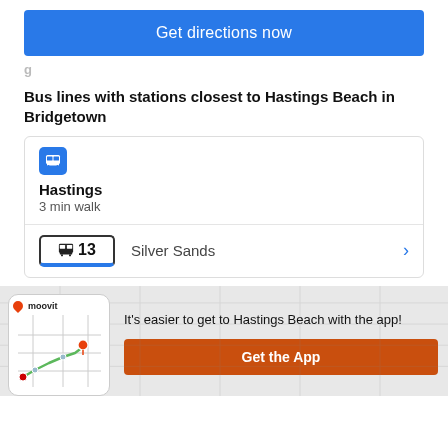[Figure (screenshot): Blue button labeled 'Get directions now']
Bus lines with stations closest to Hastings Beach in Bridgetown
[Figure (infographic): Card showing bus station 'Hastings - 3 min walk' with bus icon, and route 13 Silver Sands with chevron arrow]
[Figure (screenshot): Moovit app promo with phone screenshot showing a map route and 'It's easier to get to Hastings Beach with the app!' with orange Get the App button]